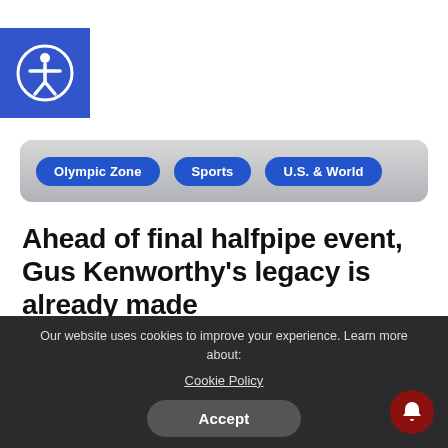[Figure (logo): Blue square accessibility icon with white person-in-circle symbol]
Olympic Zone | Sports | U.S. & World
Ahead of final halfpipe event, Gus Kenworthy's legacy is already made
Newsroom Staff | February 17, 2022
Our website uses cookies to improve your experience. Learn more about: Cookie Policy
Accept